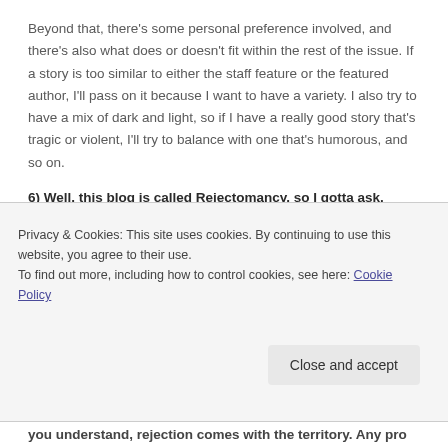Beyond that, there's some personal preference involved, and there's also what does or doesn't fit within the rest of the issue. If a story is too similar to either the staff feature or the featured author, I'll pass on it because I want to have a variety. I also try to have a mix of dark and light, so if I have a really good story that's tragic or violent, I'll try to balance with one that's humorous, and so on.
6) Well, this blog is called Rejectomancy, so I gotta ask. What are the top three reasons Havok rejects a story?
Privacy & Cookies: This site uses cookies. By continuing to use this website, you agree to their use.
To find out more, including how to control cookies, see here: Cookie Policy
you understand, rejection comes with the territory. Any pro